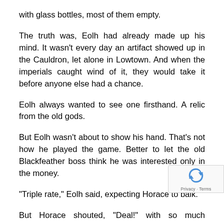with glass bottles, most of them empty.
The truth was, Eolh had already made up his mind. It wasn't every day an artifact showed up in the Cauldron, let alone in Lowtown. And when the imperials caught wind of it, they would take it before anyone else had a chance.
Eolh always wanted to see one firsthand. A relic from the old gods.
But Eolh wasn't about to show his hand. That's not how he played the game. Better to let the old Blackfeather boss think he was interested only in the money.
“Triple rate,” Eolh said, expecting Horace to balk.
But Horace shouted, “Deal!” with so much exciteme… Eolh suddenly had the nagging sensation that he h…